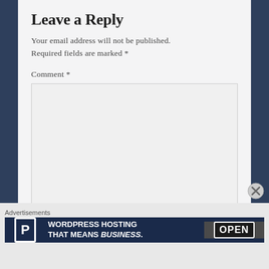Leave a Reply
Your email address will not be published. Required fields are marked *
Comment *
Name *
Advertisements
[Figure (infographic): WordPress Hosting That Means Business advertisement banner with P logo and OPEN sign photo]